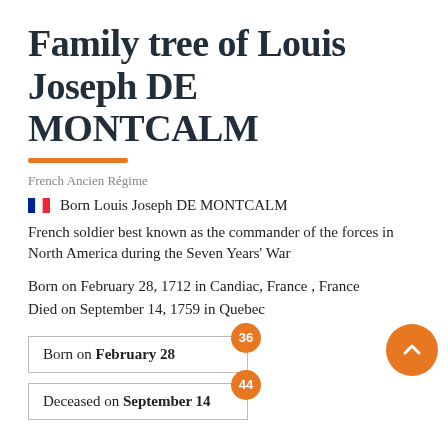Family tree of Louis Joseph DE MONTCALM
French Ancien Régime
🇫🇷 Born Louis Joseph DE MONTCALM
French soldier best known as the commander of the forces in North America during the Seven Years' War
Born on February 28, 1712 in Candiac, France , France
Died on September 14, 1759 in Quebec
Born on February 28 [badge: 36]
Deceased on September 14 [badge: 44]